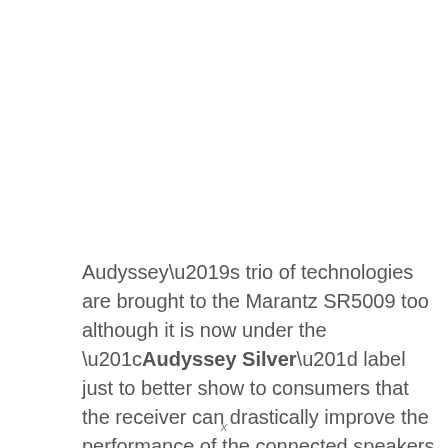Audyssey's trio of technologies are brought to the Marantz SR5009 too although it is now under the “Audyssey Silver” label just to better show to consumers that the receiver can drastically improve the performance of the connected speakers. The Audyssey MultEQ XT automatic room correction system still works the same as it
x